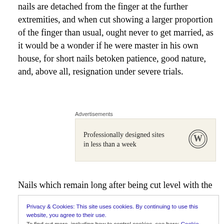nails are detached from the finger at the further extremities, and when cut showing a larger proportion of the finger than usual, ought never to get married, as it would be a wonder if he were master in his own house, for short nails betoken patience, good nature, and, above all, resignation under severe trials.
[Figure (other): WordPress advertisement banner with text 'Professionally designed sites in less than a week' and WordPress logo]
Nails which remain long after being cut level with the
Privacy & Cookies: This site uses cookies. By continuing to use this website, you agree to their use. To find out more, including how to control cookies, see here: Cookie Policy
either a player of the guitar, a tailor or an attorney. He who